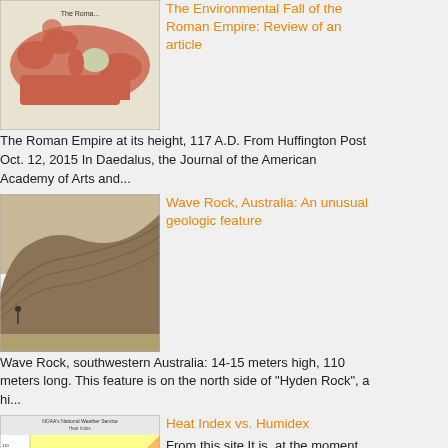[Figure (map): Map of the Roman Empire at its height, 117 A.D., showing territories in red/pink on a beige background]
The Environmental Fall of the Roman Empire: Review of an article
The Roman Empire at its height, 117 A.D. From Huffington Post Oct. 12, 2015 In Daedalus, the Journal of the American Academy of Arts and...
[Figure (photo): Wave Rock in southwestern Australia, showing the large curved rock formation resembling a wave]
Wave Rock, Australia: An unusual geologic feature
Wave Rock, southwestern Australia: 14-15 meters high, 110 meters long. This feature is on the north side of "Hyden Rock", a hi...
[Figure (table-as-image): Heat Index vs. Humidex chart from NOAA National Weather Service showing temperature and humidity combinations with color-coded danger zones]
Heat Index vs. Humidex
From this site It is, at the moment, 91 F in my former home town of Urbana, IL, the dew point is 75 F, the